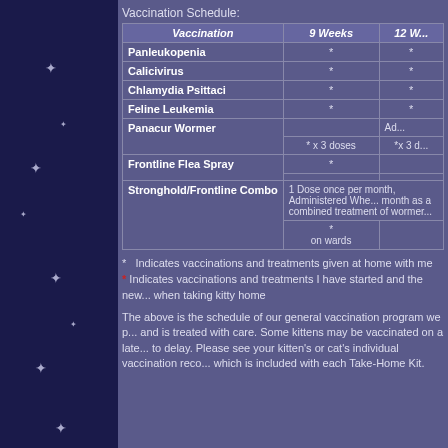Vaccination Schedule:
| Vaccination | 9 Weeks | 12 W... |
| --- | --- | --- |
| Panleukopenia | * | * |
| Calicivirus | * | * |
| Chlamydia Psittaci | * | * |
| Feline Leukemia | * | * |
| Panacur Wormer |  | Ad... |
|  | * x 3 doses | *x 3 d... |
| Frontline Flea Spray | * |  |
|  |  |  |
| Stronghold/Frontline Combo | 1 Dose once per month, Administered Whe... month as a combined treatment of wormer... |  |
|  | * on wards |  |
*   Indicates vaccinations and treatments given at home with me
* Indicates vaccinations and treatments I have started and the new... when taking kitty home
The above is the schedule of our general vaccination program we p... and is treated with care. Some kittens may be vaccinated on a late... to delay. Please see your kitten's or cat's individual vaccination reco... which is included with each Take-Home Kit.